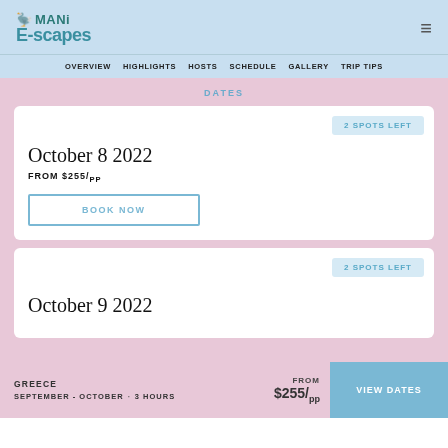MANi E-scapes
OVERVIEW  HIGHLIGHTS  HOSTS  SCHEDULE  GALLERY  TRIP TIPS
DATES
2 SPOTS LEFT
October 8 2022
FROM $255/pp
BOOK NOW
2 SPOTS LEFT
October 9 2022
GREECE  SEPTEMBER - OCTOBER  ·  3 HOURS  FROM $255/pp  VIEW DATES